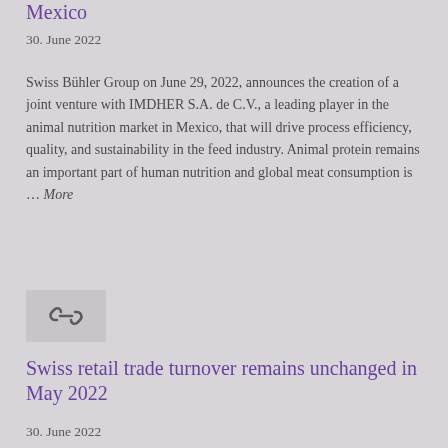Mexico
30. June 2022
Swiss Bühler Group on June 29, 2022, announces the creation of a joint venture with IMDHER S.A. de C.V., a leading player in the animal nutrition market in Mexico, that will drive process efficiency, quality, and sustainability in the feed industry. Animal protein remains an important part of human nutrition and global meat consumption is … More
[Figure (other): Link/chain icon in a grey box]
Swiss retail trade turnover remains unchanged in May 2022
30. June 2022